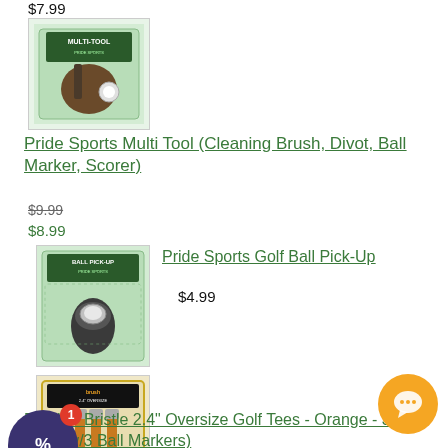$7.99
[Figure (photo): Pride Sports Multi Tool product in blister pack with green background, showing cleaning brush and divot tool]
Pride Sports Multi Tool (Cleaning Brush, Divot, Ball Marker, Scorer)
$9.99
$8.99
[Figure (photo): Pride Sports Golf Ball Pick-Up product in blister pack with green background]
Pride Sports Golf Ball Pick-Up
$4.99
[Figure (photo): Brush T Bristle 2.4 inch Oversize Golf Tees product package, orange tees shown]
Brush T Bristle 2.4" Oversize Golf Tees - Orange - 3 Tees (w/3 Ball Markers)